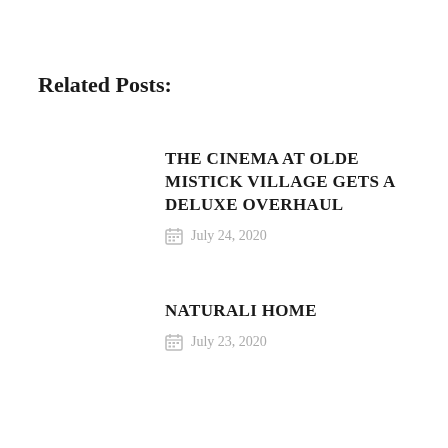Related Posts:
THE CINEMA AT OLDE MISTICK VILLAGE GETS A DELUXE OVERHAUL
July 24, 2020
NATURALI HOME
July 23, 2020